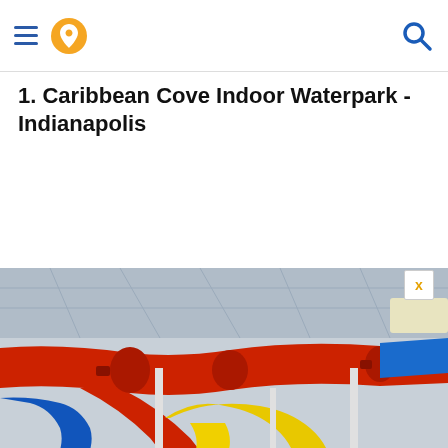Navigation header with hamburger menu, location pin icon, and search icon
1. Caribbean Cove Indoor Waterpark - Indianapolis
[Figure (photo): Indoor waterpark showing colorful water slides — large red tubular slide in foreground, yellow slide in middle, blue slides visible. Industrial ceiling structure visible above. Lower portion shows a faded/overlay view of the same or similar waterpark interior.]